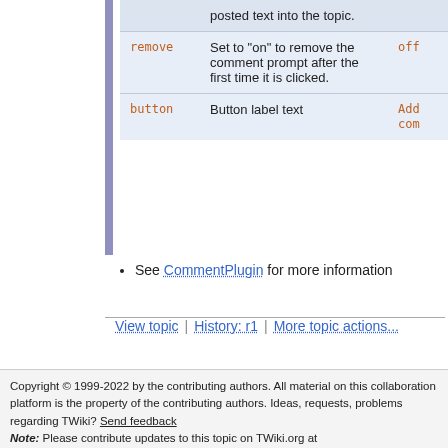| Parameter | Description | Default |
| --- | --- | --- |
|  | posted text into the topic. |  |
| remove | Set to "on" to remove the comment prompt after the first time it is clicked. | off |
| button | Button label text | Add comment |
See CommentPlugin for more information
View topic | History: r1 | More topic actions...
Copyright © 1999-2022 by the contributing authors. All material on this collaboration platform is the property of the contributing authors. Ideas, requests, problems regarding TWiki? Send feedback Note: Please contribute updates to this topic on TWiki.org at TWiki:TWiki.VarCOMMENT.